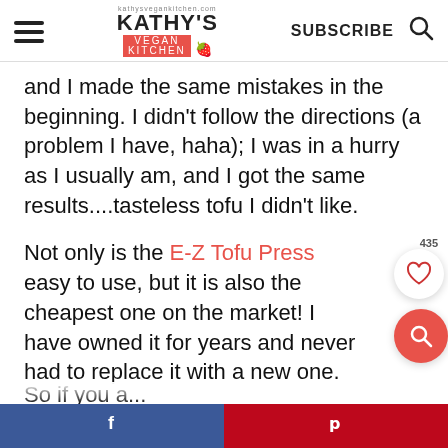Kathy's Vegan Kitchen | SUBSCRIBE
and I made the same mistakes in the beginning. I didn't follow the directions (a problem I have, haha); I was in a hurry as I usually am, and I got the same results....tasteless tofu I didn't like.
Not only is the E-Z Tofu Press easy to use, but it is also the cheapest one on the market! I have owned it for years and never had to replace it with a new one.